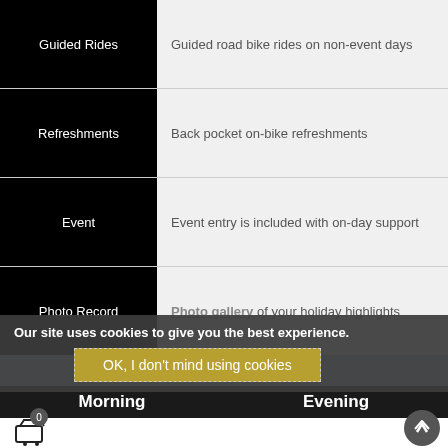| Feature | Description |
| --- | --- |
| Guided Rides | Guided road bike rides on non-event days |
| Refreshments | Back pocket on-bike refreshments |
| Event | Event entry is included with on-day support |
| Photo Record | Photo gallery of your holiday highlights |
| Pro-style Support | The Etiquette Cycling team with support vehicle are on hand to ensure you can just ride, rest and relax |
Camp Itinerary
Morning   Evening
Our site uses cookies to give you the best experience.
OK, I don't mind using cookies